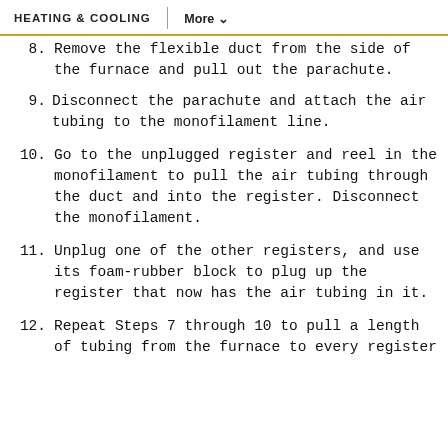HEATING & COOLING    More
8. Remove the flexible duct from the side of the furnace and pull out the parachute.
9. Disconnect the parachute and attach the air tubing to the monofilament line.
10. Go to the unplugged register and reel in the monofilament to pull the air tubing through the duct and into the register. Disconnect the monofilament.
11. Unplug one of the other registers, and use its foam-rubber block to plug up the register that now has the air tubing in it.
12. Repeat Steps 7 through 10 to pull a length of tubing from the furnace to every register